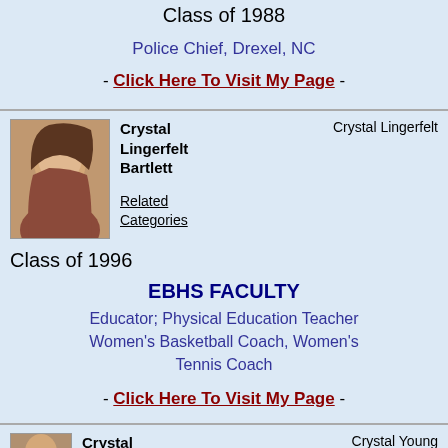Class of 1988
Police Chief, Drexel, NC
- Click Here To Visit My Page -
[Figure (photo): Photo of Crystal Lingerfelt Bartlett, a woman with brown hair smiling]
Crystal Lingerfelt Bartlett
Crystal Lingerfelt
Related Categories
Class of 1996
EBHS FACULTY
Educator; Physical Education Teacher Women's Basketball Coach, Women's Tennis Coach
- Click Here To Visit My Page -
[Figure (photo): Partial photo of Crystal Young at bottom of page]
Crystal
Crystal Young